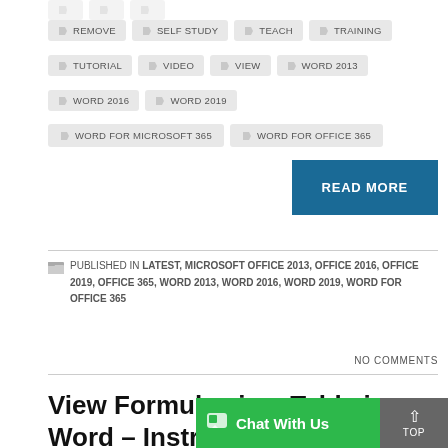REMOVE
SELF STUDY
TEACH
TRAINING
TUTORIAL
VIDEO
VIEW
WORD 2013
WORD 2016
WORD 2019
WORD FOR MICROSOFT 365
WORD FOR OFFICE 365
READ MORE
PUBLISHED IN LATEST, MICROSOFT OFFICE 2013, OFFICE 2016, OFFICE 2019, OFFICE 365, WORD 2013, WORD 2016, WORD 2019, WORD FOR OFFICE 365
NO COMMENTS
View Formulas in a Table in Word – Instruc...